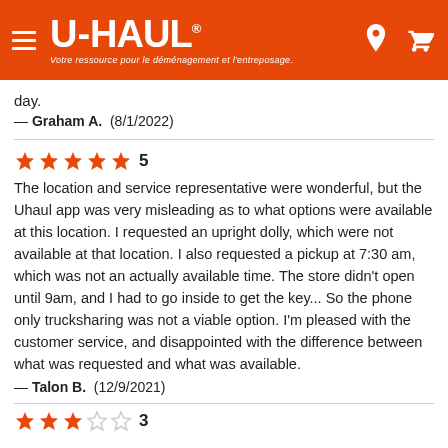[Figure (logo): U-Haul orange header with hamburger menu, U-HAUL logo with tagline 'Votre ressource pour le déménagement et l'entreposage.', and location pin and cart icons]
day.
— Graham A.  (8/1/2022)
[Figure (infographic): 5 filled orange stars rating]
The location and service representative were wonderful, but the Uhaul app was very misleading as to what options were available at this location. I requested an upright dolly, which were not available at that location. I also requested a pickup at 7:30 am, which was not an actually available time. The store didn't open until 9am, and I had to go inside to get the key... So the phone only trucksharing was not a viable option. I'm pleased with the customer service, and disappointed with the difference between what was requested and what was available.
— Talon B.  (12/9/2021)
[Figure (infographic): 3 out of 5 stars rating — 3 filled orange stars and 2 empty stars]